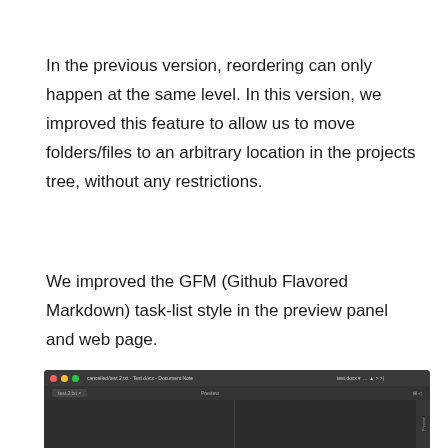In the previous version, reordering can only happen at the same level. In this version, we improved this feature to allow us to move folders/files to an arbitrary location in the projects tree, without any restrictions.
We improved the GFM (Github Flavored Markdown) task-list style in the preview panel and web page.
[Figure (screenshot): A dark-themed application window showing a document editor interface with a title bar containing traffic-light dots, a file tab, and split editor/preview panels.]